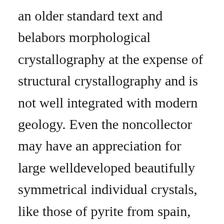an older standard text and belabors morphological crystallography at the expense of structural crystallography and is not well integrated with modern geology. Even the noncollector may have an appreciation for large welldeveloped beautifully symmetrical individual crystals, like those of pyrite from spain, and groups. The fundamentals of crystallography and mineralogy. Download book fundamentals of crystallography in pdf format. You can read online fundamentals of crystallography here in pdf, epub, mobi or docx formats.